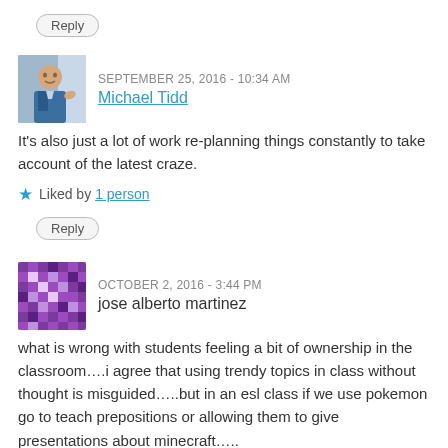Reply
SEPTEMBER 25, 2016 - 10:34 AM
Michael Tidd
It's also just a lot of work re-planning things constantly to take account of the latest craze.
Liked by 1 person
Reply
OCTOBER 2, 2016 - 3:44 PM
jose alberto martinez
what is wrong with students feeling a bit of ownership in the classroom….i agree that using trendy topics in class without thought is misguided…..but in an esl class if we use pokemon go to teach prepositions or allowing them to give presentations about minecraft…..
Like
Reply